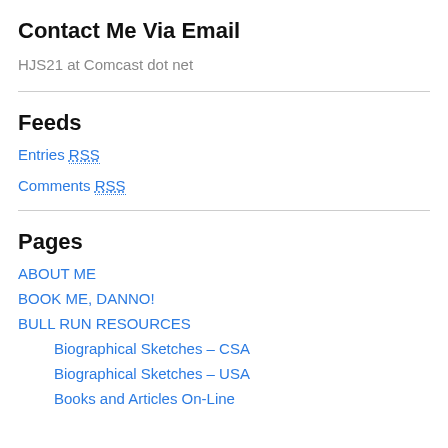Contact Me Via Email
HJS21 at Comcast dot net
Feeds
Entries RSS
Comments RSS
Pages
ABOUT ME
BOOK ME, DANNO!
BULL RUN RESOURCES
Biographical Sketches – CSA
Biographical Sketches – USA
Books and Articles On-Line